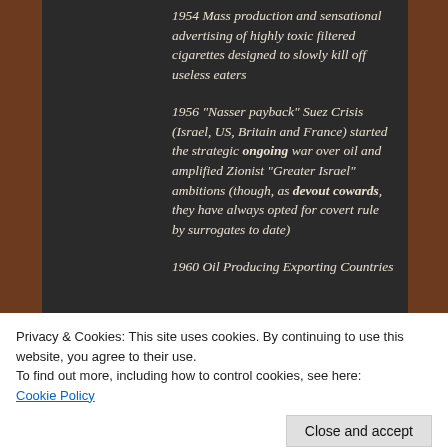1954 Mass production and sensational advertising of highly toxic filtered cigarettes designed to slowly kill off useless eaters
1956 "Nasser payback" Suez Crisis (Israel, US, Britain and France) started the strategic ongoing war over oil and amplified Zionist "Greater Israel" ambitions (though, as devout cowards, they have always opted for covert rule by surrogates to date)
1960 Oil Producing Exporting Countries
Privacy & Cookies: This site uses cookies. By continuing to use this website, you agree to their use.
To find out more, including how to control cookies, see here: Cookie Policy